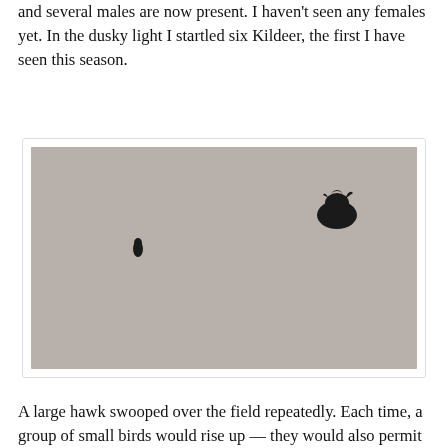and several males are now present. I haven't seen any females yet. In the dusky light I startled six Kildeer, the first I have seen this season.
[Figure (photo): Two birds in silhouette flying against a pale gray overcast sky. A smaller bird silhouette appears on the left side, and a larger bird silhouette with ruffled wings appears on the right side.]
A large hawk swooped over the field repeatedly. Each time, a group of small birds would rise up — they would also permit...